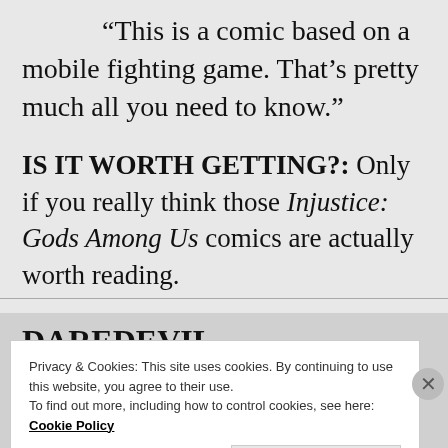“This is a comic based on a mobile fighting game. That’s pretty much all you need to know.”
IS IT WORTH GETTING?: Only if you really think those Injustice: Gods Among Us comics are actually worth reading.
DAREDEVIL
Privacy & Cookies: This site uses cookies. By continuing to use this website, you agree to their use.
To find out more, including how to control cookies, see here: Cookie Policy
Close and accept